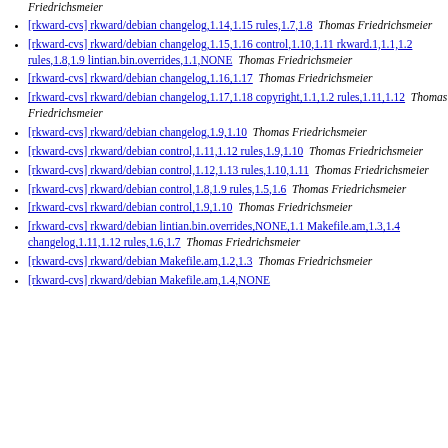Friedrichsmeier
[rkward-cvs] rkward/debian changelog,1.14,1.15 rules,1.7,1.8  Thomas Friedrichsmeier
[rkward-cvs] rkward/debian changelog,1.15,1.16 control,1.10,1.11 rkward.1,1.1,1.2 rules,1.8,1.9 lintian.bin.overrides,1.1,NONE  Thomas Friedrichsmeier
[rkward-cvs] rkward/debian changelog,1.16,1.17  Thomas Friedrichsmeier
[rkward-cvs] rkward/debian changelog,1.17,1.18 copyright,1.1,1.2 rules,1.11,1.12  Thomas Friedrichsmeier
[rkward-cvs] rkward/debian changelog,1.9,1.10  Thomas Friedrichsmeier
[rkward-cvs] rkward/debian control,1.11,1.12 rules,1.9,1.10  Thomas Friedrichsmeier
[rkward-cvs] rkward/debian control,1.12,1.13 rules,1.10,1.11  Thomas Friedrichsmeier
[rkward-cvs] rkward/debian control,1.8,1.9 rules,1.5,1.6  Thomas Friedrichsmeier
[rkward-cvs] rkward/debian control,1.9,1.10  Thomas Friedrichsmeier
[rkward-cvs] rkward/debian lintian.bin.overrides,NONE,1.1 Makefile.am,1.3,1.4 changelog,1.11,1.12 rules,1.6,1.7  Thomas Friedrichsmeier
[rkward-cvs] rkward/debian Makefile.am,1.2,1.3  Thomas Friedrichsmeier
[rkward-cvs] rkward/debian Makefile.am,1.4,NONE...